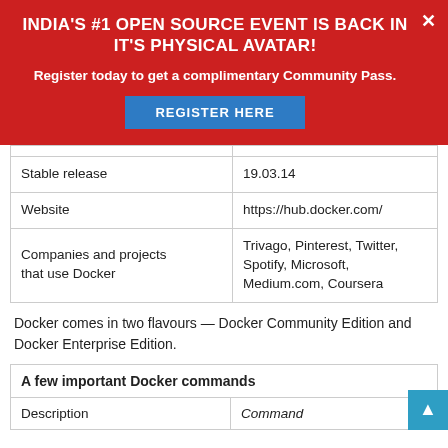[Figure (infographic): Red promotional banner: INDIA'S #1 OPEN SOURCE EVENT IS BACK IN IT'S PHYSICAL AVATAR! with a blue REGISTER HERE button and close X button]
| Stable release | 19.03.14 |
| Website | https://hub.docker.com/ |
| Companies and projects that use Docker | Trivago, Pinterest, Twitter, Spotify, Microsoft, Medium.com, Coursera |
Docker comes in two flavours — Docker Community Edition and Docker Enterprise Edition.
| A few important Docker commands |  |
| --- | --- |
| Description | Command |